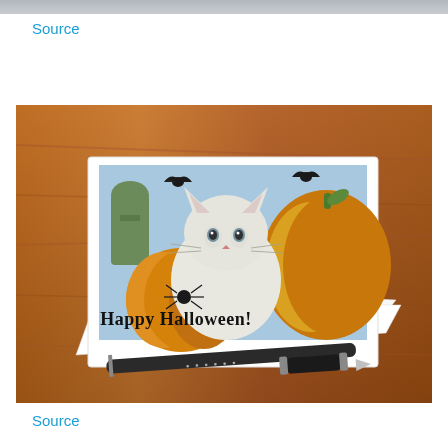[Figure (photo): Partial top edge of a photo visible as a thin strip at the top of the page]
Source
[Figure (photo): Photo of a Halloween greeting card featuring a white cat surrounded by pumpkins with bats flying overhead and 'Happy Halloween!' written on a pumpkin, with a black pen lying in front of it on a wooden table]
Source